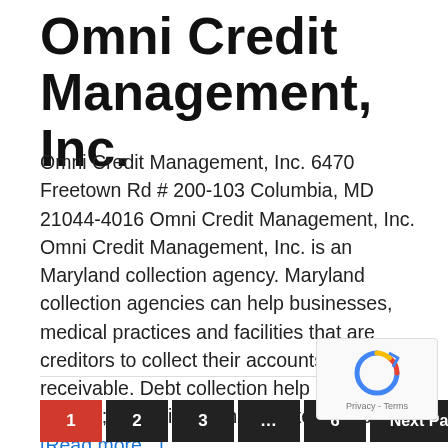Omni Credit Management, Inc.
Omni Credit Management, Inc. 6470 Freetown Rd # 200-103 Columbia, MD 21044-4016 Omni Credit Management, Inc. Omni Credit Management, Inc. is an Maryland collection agency. Maryland collection agencies can help businesses, medical practices and facilities that are creditors to collect their accounts receivable. Debt collection help might include; collection demand letters, debt … [Read more...]
1 2 3 … 6 Next Page »